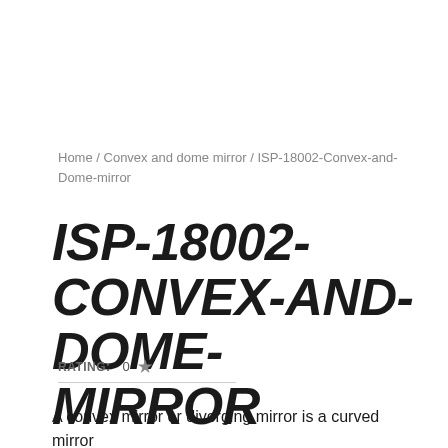Home / Convex and dome mirror / ISP-18002-Convex-and-Dome-mirror
ISP-18002-CONVEX-AND-DOME-MIRROR
RATING:  0  ★
A convex mirror or diverging mirror is a curved mirror